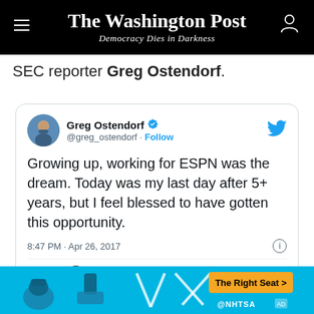The Washington Post — Democracy Dies in Darkness
SEC reporter Greg Ostendorf.
[Figure (screenshot): Embedded tweet from @greg_ostendorf (Greg Ostendorf) with verified badge. Tweet text: 'Growing up, working for ESPN was the dream. Today was my last day after 5+ years, but I feel blessed to have gotten this opportunity.' Timestamp: 8:47 PM · Apr 26, 2017. 205 likes. Reply, Copy link, Read 15 replies buttons.]
[Figure (infographic): NHTSA advertisement banner with cyan/blue background showing car seat safety equipment and 'The Right Seat >' button with NHTSA logo.]